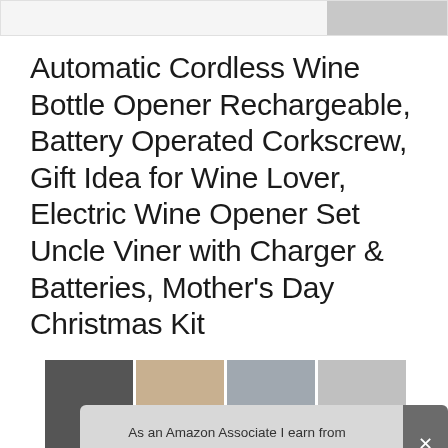[Figure (photo): Partial product image strip at top of page, showing dark-colored product on right side]
Automatic Cordless Wine Bottle Opener Rechargeable, Battery Operated Corkscrew, Gift Idea for Wine Lover, Electric Wine Opener Set Uncle Viner with Charger & Batteries, Mother's Day Christmas Kit
#ad
As an Amazon Associate I earn from qualifying purchases. This website uses the only necessary cookies to ensure you get the best experience on our website. More information
[Figure (photo): Row of product thumbnail images at bottom of page]